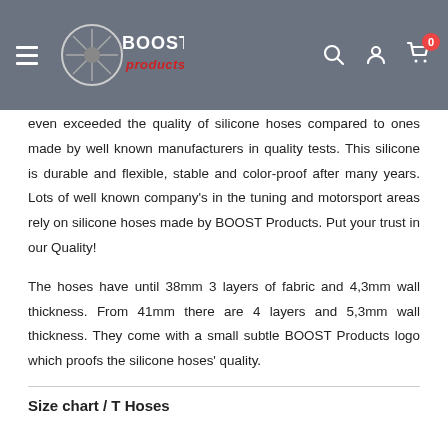BOOST Products header with logo, search, account, and cart icons
even exceeded the quality of silicone hoses compared to ones made by well known manufacturers in quality tests. This silicone is durable and flexible, stable and color-proof after many years. Lots of well known company's in the tuning and motorsport areas rely on silicone hoses made by BOOST Products. Put your trust in our Quality!
The hoses have until 38mm 3 layers of fabric and 4,3mm wall thickness. From 41mm there are 4 layers and 5,3mm wall thickness. They come with a small subtle BOOST Products logo which proofs the silicone hoses' quality.
Size chart / T Hoses